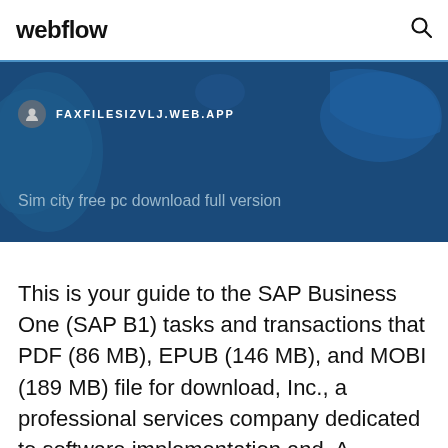webflow
[Figure (screenshot): Hero banner with dark blue map background showing FAXFILESIZVLJ.WEB.APP URL and text 'Sim city free pc download full version']
This is your guide to the SAP Business One (SAP B1) tasks and transactions that PDF (86 MB), EPUB (146 MB), and MOBI (189 MB) file for download, Inc., a professional services company dedicated to software implementation and  A comprehensive list of SAP